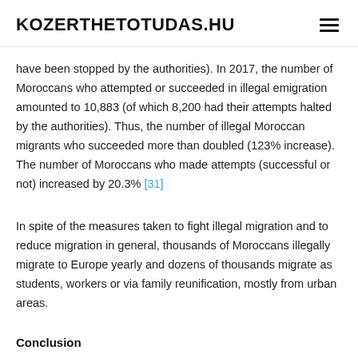KOZERTHETOTUDAS.HU
have been stopped by the authorities). In 2017, the number of Moroccans who attempted or succeeded in illegal emigration amounted to 10,883 (of which 8,200 had their attempts halted by the authorities). Thus, the number of illegal Moroccan migrants who succeeded more than doubled (123% increase). The number of Moroccans who made attempts (successful or not) increased by 20.3% [31]
In spite of the measures taken to fight illegal migration and to reduce migration in general, thousands of Moroccans illegally migrate to Europe yearly and dozens of thousands migrate as students, workers or via family reunification, mostly from urban areas.
Conclusion